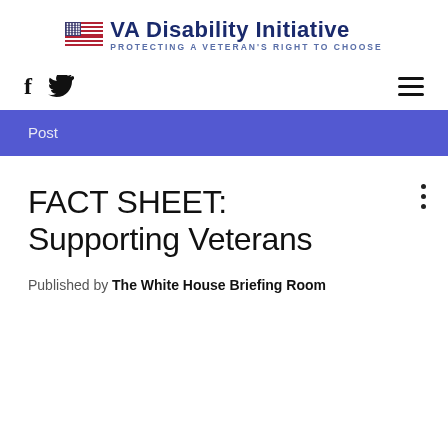VA Disability Initiative — PROTECTING A VETERAN'S RIGHT TO CHOOSE
f  (twitter icon)  (hamburger menu)
Post
FACT SHEET: Supporting Veterans
Published by The White House Briefing Room
[Figure (photo): Blurred circular image, partially visible at bottom of page, showing dark curved shape against white background — likely a person's head/helmet or dome.]